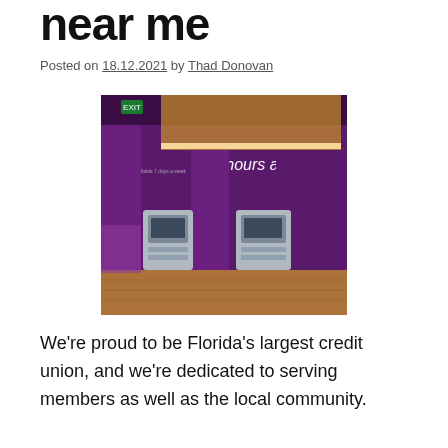near me
Posted on 18.12.2021 by Thad Donovan
[Figure (photo): Interior of a credit union branch showing ATM kiosks against purple walls with '24 hours a day' text on the wall, warm wood-tone ceiling panels.]
We're proud to be Florida's largest credit union, and we're dedicated to serving members as well as the local community.